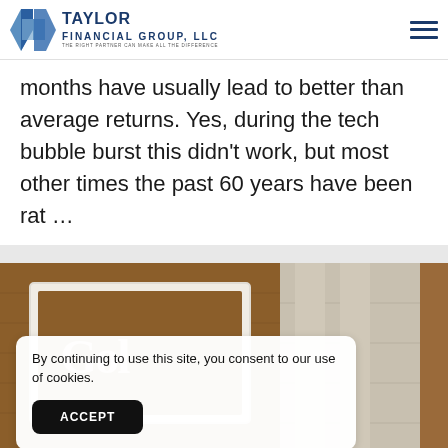[Figure (logo): Taylor Financial Group, LLC logo with diamond/chevron graphic and tagline 'The Right Partner Can Make All The Difference']
months have usually lead to better than average returns. Yes, during the tech bubble burst this didn't work, but most other times the past 60 years have been rat …
[Figure (photo): Photo of a Goldman Sachs (or similar) building sign on wood paneling with stone background]
By continuing to use this site, you consent to our use of cookies.